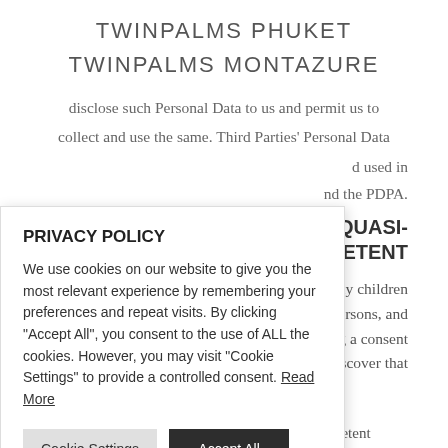TWINPALMS PHUKET
TWINPALMS MONTAZURE
disclose such Personal Data to us and permit us to collect and use the same. Third Parties' Personal Data … d used in … nd the PDPA.
QUASI-
OMPETENT
… any children t persons, and g a consent e discover that
PRIVACY POLICY
We use cookies on our website to give you the most relevant experience by remembering your preferences and repeat visits. By clicking "Accept All", you consent to the use of ALL the cookies. However, you may visit "Cookie Settings" to provide a controlled consent. Read More
Cookie Settings   Accept All
the Personal Data of children, quasi-incompetent